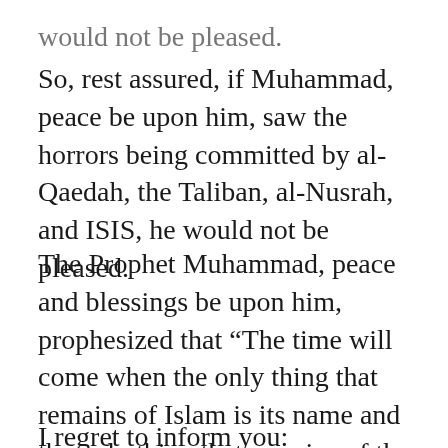would not be pleased.
So, rest assured, if Muhammad, peace be upon him, saw the horrors being committed by al-Qaedah, the Taliban, al-Nusrah, and ISIS, he would not be pleased.
The Prophet Muhammad, peace and blessings be upon him, prophesized that “The time will come when the only thing that remains of Islam is its name and the only thing that remains of the Qur’an is its writing” (Mishkat).
I regret to inform you: